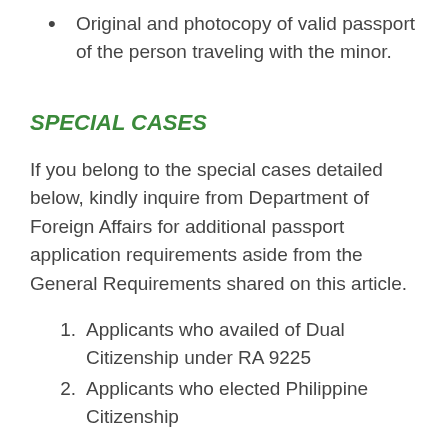Original and photocopy of valid passport of the person traveling with the minor.
SPECIAL CASES
If you belong to the special cases detailed below, kindly inquire from Department of Foreign Affairs for additional passport application requirements aside from the General Requirements shared on this article.
Applicants who availed of Dual Citizenship under RA 9225
Applicants who elected Philippine Citizenship